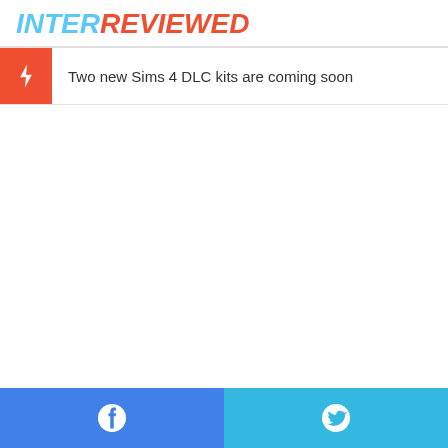INTERREVIEWED
Two new Sims 4 DLC kits are coming soon
Facebook share | Twitter share